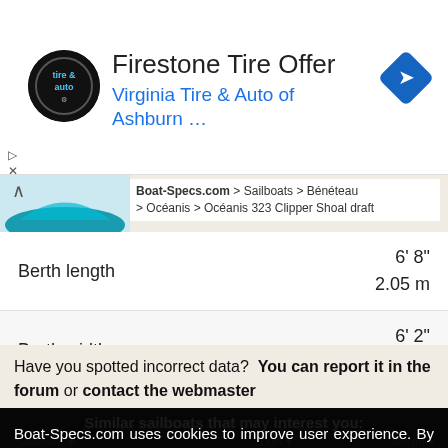[Figure (screenshot): Advertisement banner for Firestone Tire Offer at Virginia Tire & Auto of Ashburn with logo and navigation arrow icon]
Boat-Specs.com > Sailboats > Bénéteau > Océanis > Océanis 323 Clipper Shoal draft
|  |  |
| --- | --- |
| Berth length | 6' 8"
2.05 m |
| Berth width | 6' 2"
1.9 m |
Have you spotted incorrect data?  You can report it in the forum or contact the webmaster
Similar sailboats that may interest you:
Boat-Specs.com uses cookies to improve user experience. By using our website you consent to all cookies in accordance with our Cookie Policy.
Read more
Accept all
Hallberg-Rassy 31 MkII
Shoal draft (Hallberg-Rassy)
2005
31' 7"
9.62 m